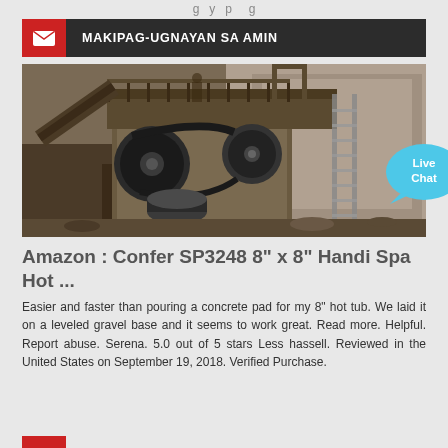g y p g
MAKIPAG-UGNAYAN SA AMIN
[Figure (photo): Industrial stone crusher or jaw crusher machine at a quarry or mining site, mounted on a metal frame structure with conveyor belts, ladders, and rocky walls in background.]
Amazon : Confer SP3248 8" x 8" Handi Spa Hot ...
Easier and faster than pouring a concrete pad for my 8" hot tub. We laid it on a leveled gravel base and it seems to work great. Read more. Helpful. Report abuse. Serena. 5.0 out of 5 stars Less hassell. Reviewed in the United States on September 19, 2018. Verified Purchase.